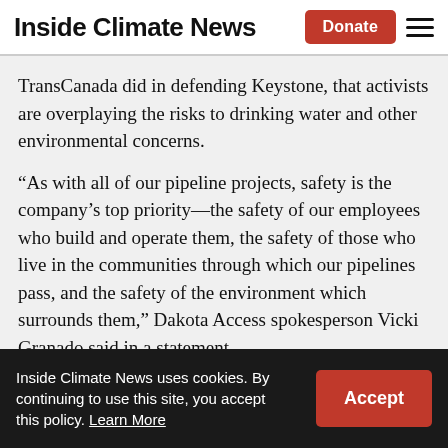Inside Climate News
TransCanada did in defending Keystone, that activists are overplaying the risks to drinking water and other environmental concerns.
“As with all of our pipeline projects, safety is the company’s top priority—the safety of our employees who build and operate them, the safety of those who live in the communities through which our pipelines pass, and the safety of the environment which surrounds them,” Dakota Access spokesperson Vicki Granado said in a statement.
Inside Climate News uses cookies. By continuing to use this site, you accept this policy. Learn More